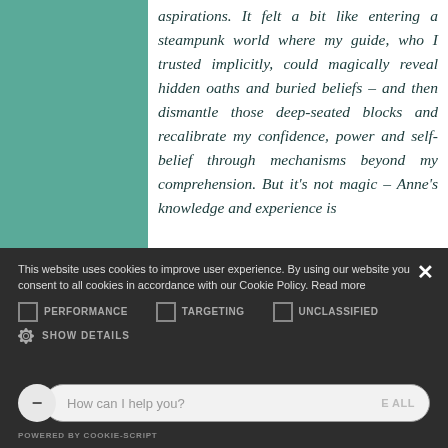aspirations. It felt a bit like entering a steampunk world where my guide, who I trusted implicitly, could magically reveal hidden oaths and buried beliefs – and then dismantle those deep-seated blocks and recalibrate my confidence, power and self-belief through mechanisms beyond my comprehension. But it's not magic – Anne's knowledge and experience is
This website uses cookies to improve user experience. By using our website you consent to all cookies in accordance with our Cookie Policy. Read more
PERFORMANCE  TARGETING  UNCLASSIFIED
SHOW DETAILS
How can I help you?  E ALL
POWERED BY COOKIE-SCRIPT